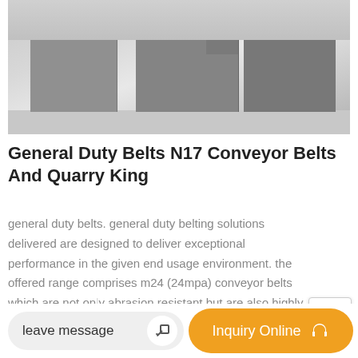[Figure (photo): Industrial metal box/hopper equipment photographed outdoors on a concrete surface. Large grey metal fabricated boxes or chutes are visible.]
General Duty Belts N17 Conveyor Belts And Quarry King
general duty belts. general duty belting solutions delivered are designed to deliver exceptional performance in the given end usage environment. the offered range comprises m24 (24mpa) conveyor belts which are not only abrasion resistant but are also highly resistant to
leave message
Inquiry Online